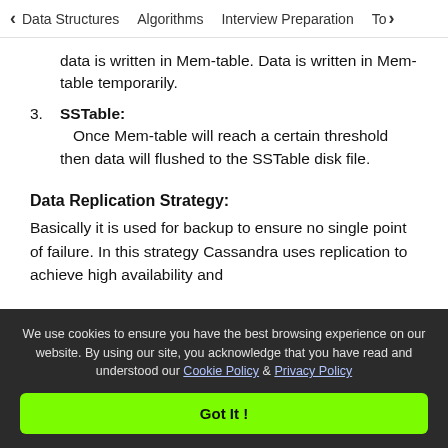< Data Structures   Algorithms   Interview Preparation   To>
data is written in Mem-table. Data is written in Mem-table temporarily.
3. SSTable: Once Mem-table will reach a certain threshold then data will flushed to the SSTable disk file.
Data Replication Strategy:
Basically it is used for backup to ensure no single point of failure. In this strategy Cassandra uses replication to achieve high availability and
We use cookies to ensure you have the best browsing experience on our website. By using our site, you acknowledge that you have read and understood our Cookie Policy & Privacy Policy
Got It !